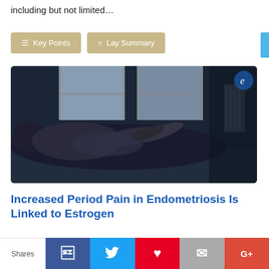including but not limited…
Key Points | Lay Summary (buttons)
[Figure (photo): A person lying on their back, hands on stomach, in a dark room with window light — illustrating period pain / endometriosis.]
Increased Period Pain in Endometriosis Is Linked to Estrogen
Researchers in China shed light on the mechanism of
Shares | Facebook | Twitter | Pinterest | Email | Google+